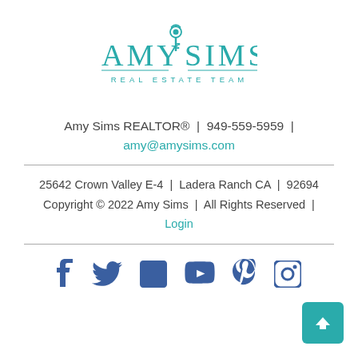[Figure (logo): Amy Sims Real Estate Team logo — teal text with a decorative key icon between AMY and SIMS, with REAL ESTATE TEAM below in spaced letters]
Amy Sims REALTOR® | 949-559-5959 | amy@amysims.com
25642 Crown Valley E-4 | Ladera Ranch CA | 92694
Copyright © 2022 Amy Sims | All Rights Reserved |
Login
[Figure (infographic): Social media icons in blue: Facebook, Twitter, LinkedIn, YouTube, Pinterest, Instagram]